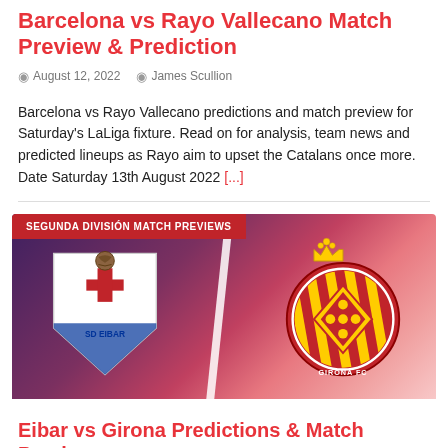Barcelona vs Rayo Vallecano Match Preview & Prediction
August 12, 2022   James Scullion
Barcelona vs Rayo Vallecano predictions and match preview for Saturday's LaLiga fixture. Read on for analysis, team news and predicted lineups as Rayo aim to upset the Catalans once more. Date Saturday 13th August 2022 [...]
[Figure (photo): Match preview banner image for Eibar vs Girona featuring both club crests against a red/purple gradient background with 'SEGUNDA DIVISIÓN MATCH PREVIEWS' badge]
Eibar vs Girona Predictions & Match Preview